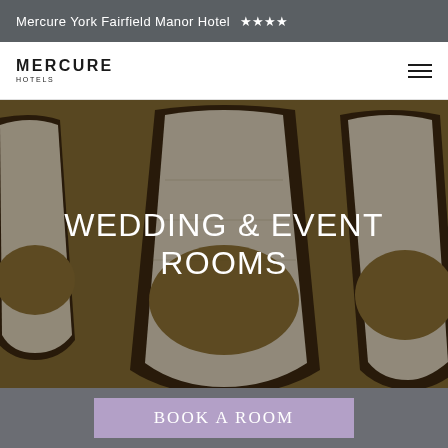Mercure York Fairfield Manor Hotel ★★★★
[Figure (logo): Mercure Hotels logo with hamburger menu icon]
[Figure (photo): Close-up of golden/olive upholstered banquet chairs with white trim, shot from above at an angle, representing wedding and event room seating]
WEDDING & EVENT ROOMS
BOOK A ROOM